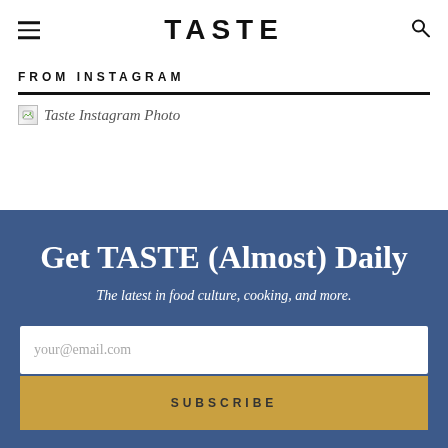TASTE
FROM INSTAGRAM
[Figure (photo): Taste Instagram Photo (broken image placeholder with alt text)]
Get TASTE (Almost) Daily
The latest in food culture, cooking, and more.
your@email.com
SUBSCRIBE